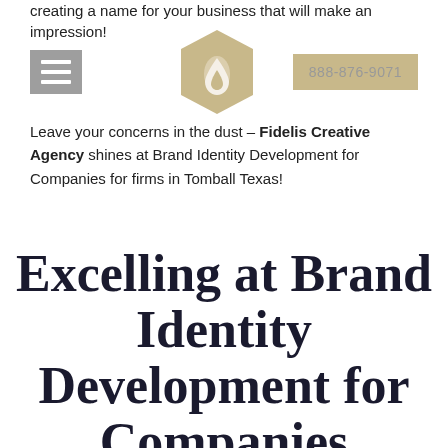creating a name for your business that will make an impression!
[Figure (infographic): Navigation bar with hamburger menu icon (grey box with three white lines), hexagonal logo with flame/drop icon in tan/gold color, and a phone number box showing 888-876-9071]
Leave your concerns in the dust – Fidelis Creative Agency shines at Brand Identity Development for Companies for firms in Tomball Texas!
Excelling at Brand Identity Development for Companies Requires Dedication